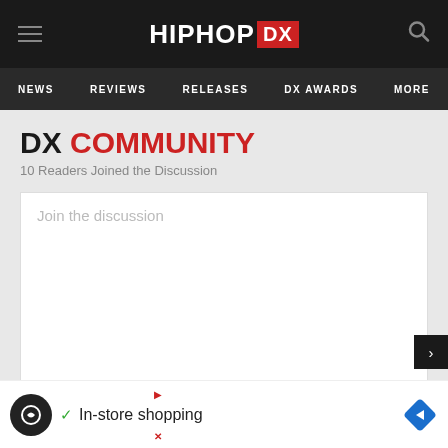HIPHOP DX
NEWS   REVIEWS   RELEASES   DX AWARDS   MORE
DX COMMUNITY
10 Readers Joined the Discussion
Join the discussion
Name
E-mo
[Figure (screenshot): Advertisement banner: In-store shopping]